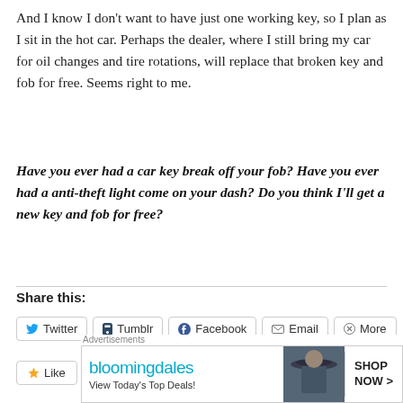And I know I don't want to have just one working key, so I plan as I sit in the hot car. Perhaps the dealer, where I still bring my car for oil changes and tire rotations, will replace that broken key and fob for free. Seems right to me.
Have you ever had a car key break off your fob? Have you ever had a anti-theft light come on your dash? Do you think I'll get a new key and fob for free?
Share this:
Twitter  Tumblr  Facebook  Email  More
[Figure (other): Like button and user avatar thumbnails row]
[Figure (other): Bloomingdales advertisement banner: View Today's Top Deals! SHOP NOW >]